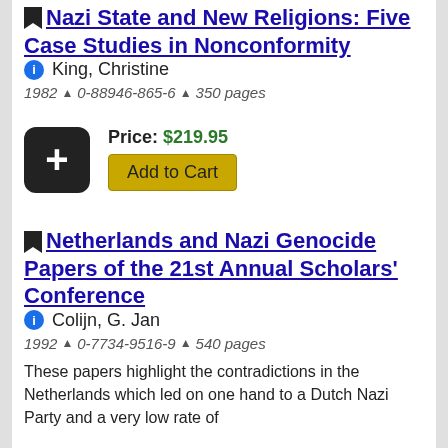Nazi State and New Religions: Five Case Studies in Nonconformity
King, Christine
1982 ▲ 0-88946-865-6 ▲ 350 pages
Price: $219.95
Add to Cart
Netherlands and Nazi Genocide Papers of the 21st Annual Scholars' Conference
Colijn, G. Jan
1992 ▲ 0-7734-9516-9 ▲ 540 pages
These papers highlight the contradictions in the Netherlands which led on one hand to a Dutch Nazi Party and a very low rate of